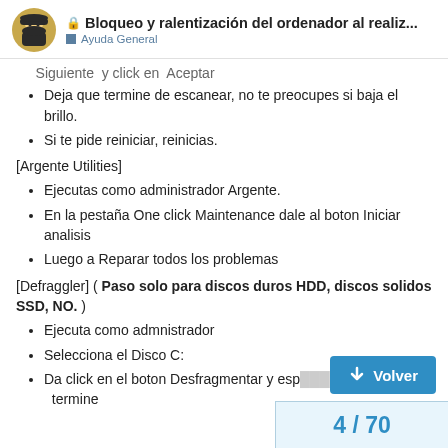🔒 Bloqueo y ralentización del ordenador al realiz... | Ayuda General
Siguiente  y click en  Aceptar
Deja que termine de escanear, no te preocupes si baja el brillo.
Si te pide reiniciar, reinicias.
[Argente Utilities]
Ejecutas como administrador Argente.
En la pestaña One click Maintenance dale al boton Iniciar analisis
Luego a Reparar todos los problemas
[Defraggler] ( Paso solo para discos duros HDD, discos solidos SSD, NO. )
Ejecuta como admnistrador
Selecciona el Disco C:
Da click en el boton Desfragmentar y esp… termine